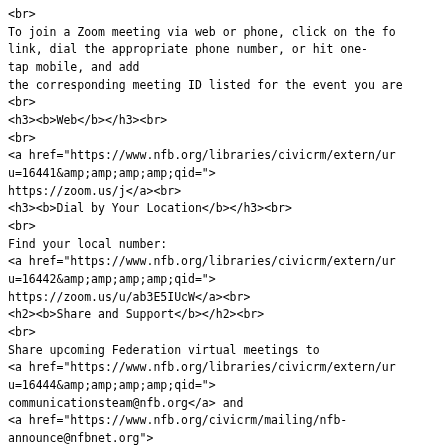<br>
To join a Zoom meeting via web or phone, click on the fo
link, dial the appropriate phone number, or hit one-
tap mobile, and add
the corresponding meeting ID listed for the event you are
<br>
<h3><b>Web</b></h3><br>
<br>
<a href="https://www.nfb.org/libraries/civicrm/extern/ur
u=16441&amp;amp;amp;amp;amp;qid=">
https://zoom.us/j</a><br>
<h3><b>Dial by Your Location</b></h3><br>
<br>
Find your local number:
<a href="https://www.nfb.org/libraries/civicrm/extern/ur
u=16442&amp;amp;amp;amp;amp;qid=">
https://zoom.us/u/ab3E5IUcW</a><br>
<h2><b>Share and Support</b></h2><br>
<br>
Share upcoming Federation virtual meetings to
<a href="https://www.nfb.org/libraries/civicrm/extern/ur
u=16444&amp;amp;amp;amp;amp;qid=">
communicationsteam@nfb.org</a> and
<a href="https://www.nfb.org/civicrm/mailing/nfb-
announce@nfbnet.org">
nfb-announce@nfbnet.org</a>.<br>
<br>
If you know of a blind person who is facing adversity bec
19
please email